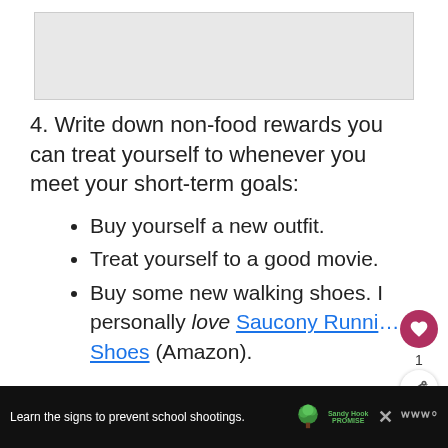[Figure (other): Top image area placeholder (cropped article image)]
4. Write down non-food rewards you can treat yourself to whenever you meet your short-term goals:
Buy yourself a new outfit.
Treat yourself to a good movie.
Buy some new walking shoes. I personally love Saucony Running Shoes (Amazon).
Learn the signs to prevent school shootings. Sandy Hook Promise [advertisement]